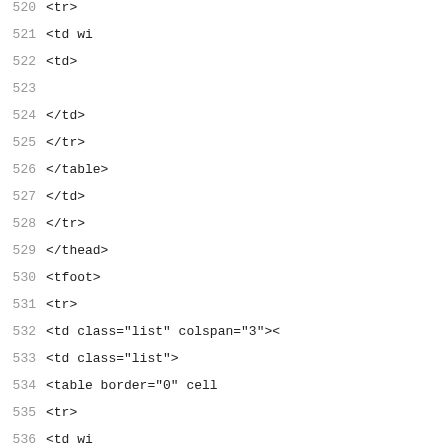Code listing lines 520-549, showing HTML/PHP source code with line numbers. Lines include table structure tags (tr, td, tfoot, tbody) and PHP code with variable assignments and foreach loop.